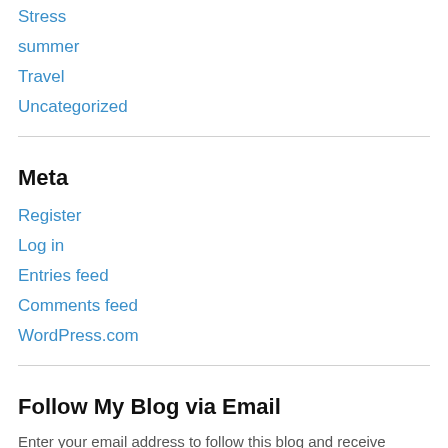Stress
summer
Travel
Uncategorized
Meta
Register
Log in
Entries feed
Comments feed
WordPress.com
Follow My Blog via Email
Enter your email address to follow this blog and receive notifications of new posts by email.
Enter your email address